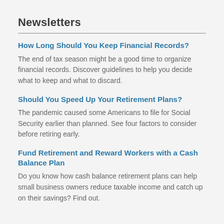Newsletters
How Long Should You Keep Financial Records?
The end of tax season might be a good time to organize financial records. Discover guidelines to help you decide what to keep and what to discard.
Should You Speed Up Your Retirement Plans?
The pandemic caused some Americans to file for Social Security earlier than planned. See four factors to consider before retiring early.
Fund Retirement and Reward Workers with a Cash Balance Plan
Do you know how cash balance retirement plans can help small business owners reduce taxable income and catch up on their savings? Find out.